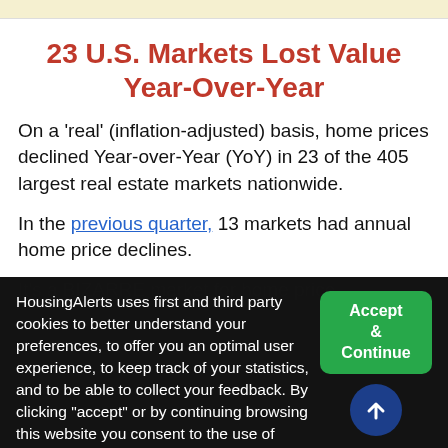23 U.S. Markets Lost Value Year-Over-Year
On a 'real' (inflation-adjusted) basis, home prices declined Year-over-Year (YoY) in 23 of the 405 largest real estate markets nationwide.
In the previous quarter, 13 markets had annual home price declines.
HousingAlerts uses first and third party cookies to better understand your preferences, to offer you an optimal user experience, to keep track of your statistics, and to be able to collect your feedback. By clicking "accept" or by continuing browsing this website you consent to the use of cookies. Read more about our cookies and privacy policy here.
Accept & Continue
coming